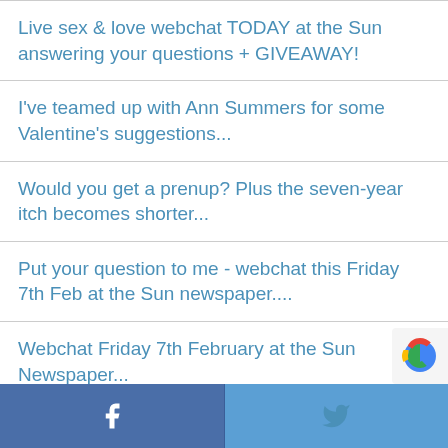Live sex & love webchat TODAY at the Sun answering your questions + GIVEAWAY!
I've teamed up with Ann Summers for some Valentine's suggestions...
Would you get a prenup? Plus the seven-year itch becomes shorter...
Put your question to me - webchat this Friday 7th Feb at the Sun newspaper....
Webchat Friday 7th February at the Sun Newspaper...
Dilemma – they want to share boyfriends...